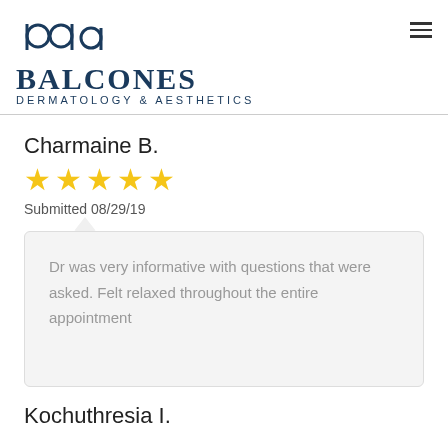[Figure (logo): Balcones Dermatology & Aesthetics logo with stylized 'bda' icon and text]
Charmaine B.
[Figure (other): 5 gold star rating]
Submitted 08/29/19
Dr was very informative with questions that were asked. Felt relaxed throughout the entire appointment
Kochuthresia I.